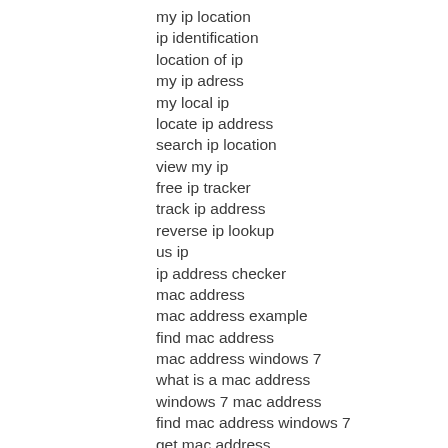my ip location
ip identification
location of ip
my ip adress
my local ip
locate ip address
search ip location
view my ip
free ip tracker
track ip address
reverse ip lookup
us ip
ip address checker
mac address
mac address example
find mac address
mac address windows 7
what is a mac address
windows 7 mac address
find mac address windows 7
get mac address
mac address database
what is mac address
my mac address
sample mac address